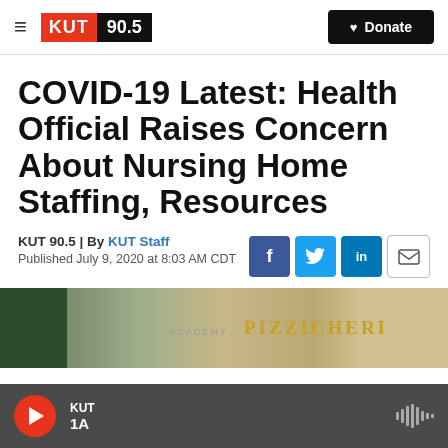KUT 90.5 | Donate
COVID-19 Latest: Health Official Raises Concern About Nursing Home Staffing, Resources
KUT 90.5 | By KUT Staff
Published July 9, 2020 at 8:03 AM CDT
[Figure (photo): Exterior photo showing signage with 'PIZZICHERI' text]
KUT | 1A